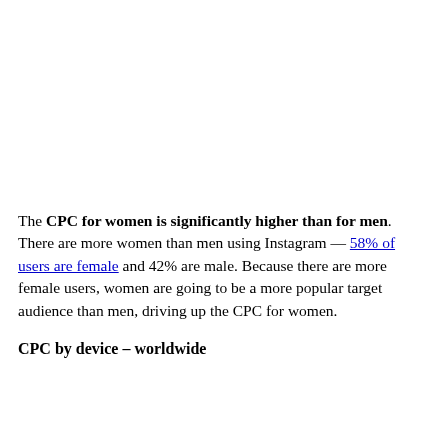The CPC for women is significantly higher than for men. There are more women than men using Instagram — 58% of users are female and 42% are male. Because there are more female users, women are going to be a more popular target audience than men, driving up the CPC for women.
CPC by device – worldwide